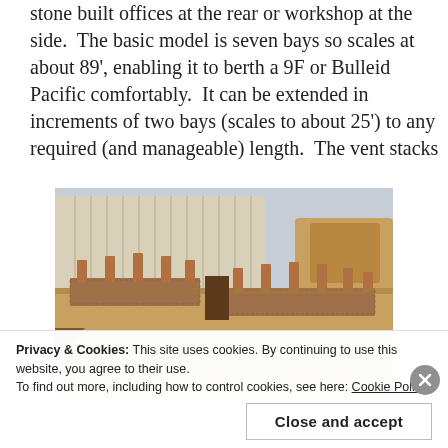stone built offices at the rear or workshop at the side.  The basic model is seven bays so scales at about 89', enabling it to berth a 9F or Bulleid Pacific comfortably.  It can be extended in increments of two bays (scales to about 25') to any required (and manageable) length.  The vent stacks
[Figure (photo): Photograph of a wooden scale model of a locomotive shed or engine shed structure on a table, showing multiple bays with vent stacks, placed on a cardboard or wooden surface with a radiator and chair visible in the background.]
Privacy & Cookies: This site uses cookies. By continuing to use this website, you agree to their use.
To find out more, including how to control cookies, see here: Cookie Policy
Close and accept